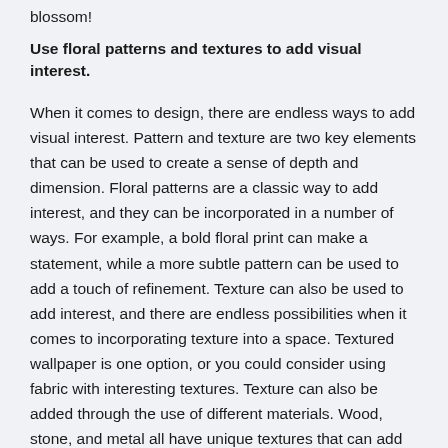blossom!
Use floral patterns and textures to add visual interest.
When it comes to design, there are endless ways to add visual interest. Pattern and texture are two key elements that can be used to create a sense of depth and dimension. Floral patterns are a classic way to add interest, and they can be incorporated in a number of ways. For example, a bold floral print can make a statement, while a more subtle pattern can be used to add a touch of refinement. Texture can also be used to add interest, and there are endless possibilities when it comes to incorporating texture into a space. Textured wallpaper is one option, or you could consider using fabric with interesting textures. Texture can also be added through the use of different materials. Wood, stone, and metal all have unique textures that can add visual interest to a space. By combining different patterns and textures,